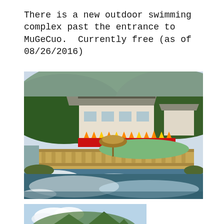There is a new outdoor swimming complex past the entrance to MuGeCuo.  Currently free (as of 08/26/2016)
[Figure (photo): Outdoor swimming complex at MuGeCuo with a pool area surrounded by ornate railings, a thatched umbrella, buildings with Japanese-style roofing in the background, forests on the hillside, and a rushing river/stream in the foreground]
[Figure (photo): Partial view of mountain landscape with green forested hillsides and blue sky with clouds]